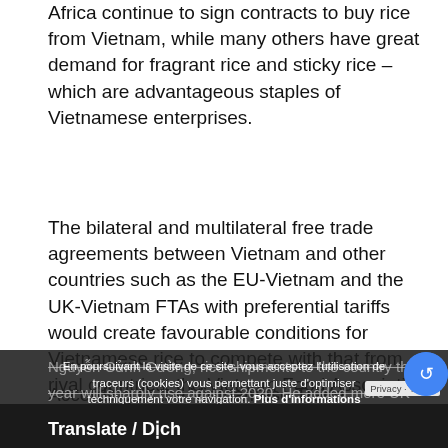Africa continue to sign contracts to buy rice from Vietnam, while many others have great demand for fragrant rice and sticky rice – which are advantageous staples of Vietnamese enterprises.
The bilateral and multilateral free trade agreements between Vietnam and other countries such as the EU-Vietnam and the UK-Vietnam FTAs with preferential tariffs would create favourable conditions for Vietnamese rice to compete with that from rival countries, the Vietnam Food Association said.
According to the Vietnamese Trade Counsellor in the UK
Nguyễn Cảnh Cường, rice shipments to the country this year will sharply rise against 2020. He added more UK firms will purchase Vietnamese rice under the UK-Vietnam FTA, creating a chance for Vietnamese rice to expand market share in the UK this year.
En poursuivant la visite de ce site, vous acceptez l'utilisation de traceurs (cookies) vous permettant juste d'optimiser techniquement votre navigation. Plus d'informations
Accepter
Translate / Dịch
Privacy · Terms